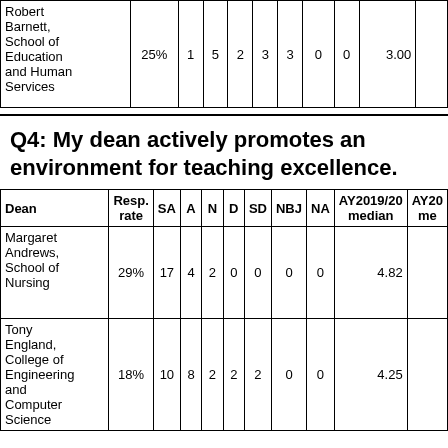| Dean | Resp. rate | SA | A | N | D | SD | NBJ | NA | AY2019/20 median | AY20 me |
| --- | --- | --- | --- | --- | --- | --- | --- | --- | --- | --- |
| Robert Barnett, School of Education and Human Services | 25% | 1 | 5 | 2 | 3 | 3 | 0 | 0 | 3.00 |  |
Q4: My dean actively promotes an environment for teaching excellence.
| Dean | Resp. rate | SA | A | N | D | SD | NBJ | NA | AY2019/20 median | AY20 me |
| --- | --- | --- | --- | --- | --- | --- | --- | --- | --- | --- |
| Margaret Andrews, School of Nursing | 29% | 17 | 4 | 2 | 0 | 0 | 0 | 0 | 4.82 |  |
| Tony England, College of Engineering and Computer Science | 18% | 10 | 8 | 2 | 2 | 2 | 0 | 0 | 4.25 |  |